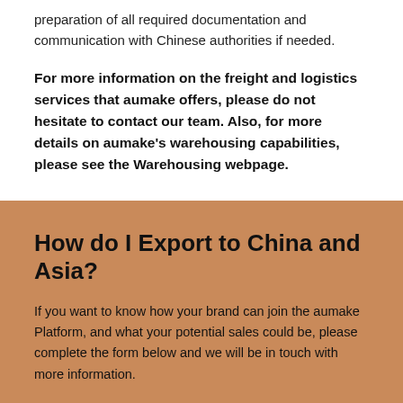preparation of all required documentation and communication with Chinese authorities if needed.
For more information on the freight and logistics services that aumake offers, please do not hesitate to contact our team. Also, for more details on aumake's warehousing capabilities, please see the Warehousing webpage.
How do I Export to China and Asia?
If you want to know how your brand can join the aumake Platform, and what your potential sales could be, please complete the form below and we will be in touch with more information.
First Name